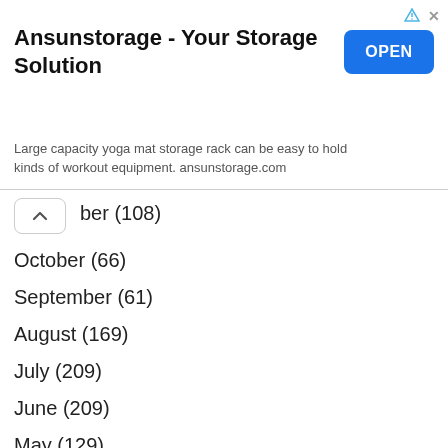[Figure (screenshot): Advertisement banner for Ansunstorage with OPEN button]
Ansunstorage - Your Storage Solution
Large capacity yoga mat storage rack can be easy to hold kinds of workout equipment. ansunstorage.com
ber (108)
October (66)
September (61)
August (169)
July (209)
June (209)
May (129)
April (135)
March (128)
February (110)
January (129)
December (98)
November (98)
October (77)
September (59)